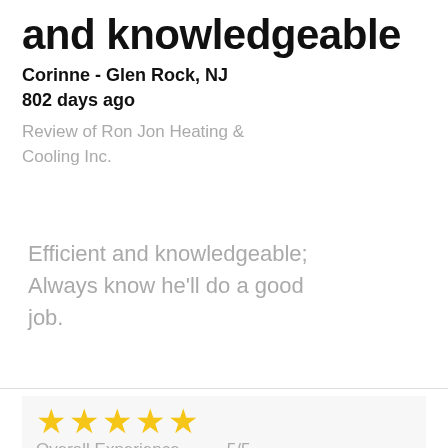and knowledgeable
Corinne - Glen Rock, NJ
802 days ago
Review of Ron Jon Heating & Cooling Inc.
Efficient and knowledgeable; Always know he'll do a good job.
Overall Experience 5/5